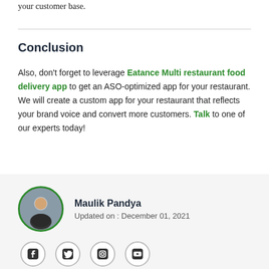your customer base.
Conclusion
Also, don't forget to leverage Eatance Multi restaurant food delivery app to get an ASO-optimized app for your restaurant. We will create a custom app for your restaurant that reflects your brand voice and convert more customers. Talk to one of our experts today!
[Figure (photo): Author card with photo of Maulik Pandya, updated date December 01, 2021, and social media icons for Facebook, Twitter, Instagram, YouTube]